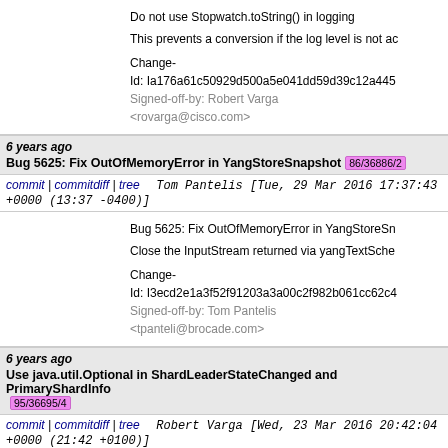Do not use Stopwatch.toString() in logging

This prevents a conversion if the log level is not ac

Change-Id: Ia176a61c50929d500a5e041dd59d39c12a445
Signed-off-by: Robert Varga <rovarga@cisco.com>
6 years ago   Bug 5625: Fix OutOfMemoryError in YangStoreSnapshot   86/36886/2
commit | commitdiff | tree   Tom Pantelis [Tue, 29 Mar 2016 17:37:43 +0000 (13:37 -0400)]
Bug 5625: Fix OutOfMemoryError in YangStoreSn

Close the InputStream returned via yangTextSche

Change-Id: I3ecd2e1a3f52f91203a3a00c2f982b061cc62c4
Signed-off-by: Tom Pantelis <tpanteli@brocade.com>
6 years ago   Use java.util.Optional in ShardLeaderStateChanged and PrimaryShardInfo   95/36695/4
commit | commitdiff | tree   Robert Varga [Wed, 23 Mar 2016 20:42:04 +0000 (21:42 +0100)]